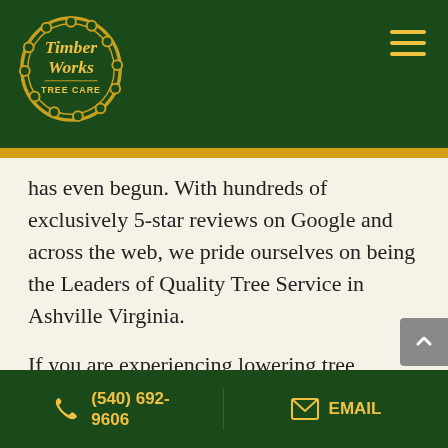[Figure (logo): Timber Works Tree Care logo — circular badge with dark green background and gold/yellow text]
has even begun. With hundreds of exclusively 5-star reviews on Google and across the web, we pride ourselves on being the Leaders of Quality Tree Service in Ashville Virginia.
If you are experiencing lowering tree branches, overgrowth, and other common signs, call us today at (540) 254-5773 for a free consultation and estimate.
(540) 692-9606   EMAIL